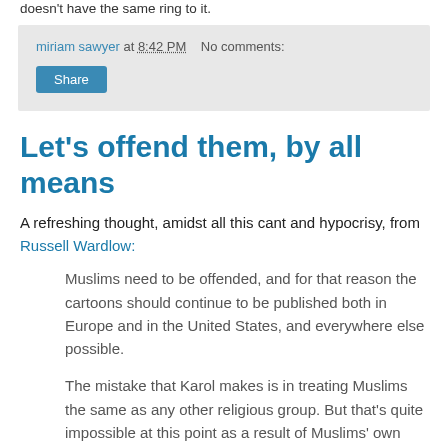doesn't have the same ring to it.
miriam sawyer at 8:42 PM   No comments:
Share
Let's offend them, by all means
A refreshing thought, amidst all this cant and hypocrisy, from Russell Wardlow:
Muslims need to be offended, and for that reason the cartoons should continue to be published both in Europe and in the United States, and everywhere else possible.
The mistake that Karol makes is in treating Muslims the same as any other religious group. But that's quite impossible at this point as a result of Muslims' own behavior. Precisely because they